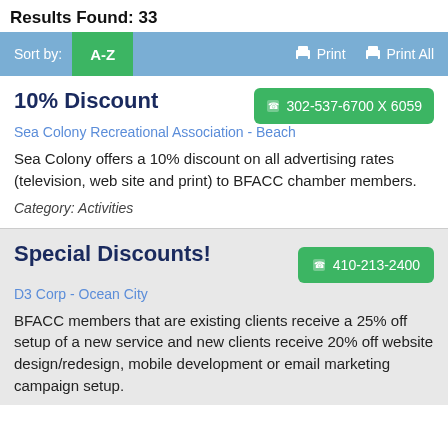Results Found: 33
Sort by: A-Z  Print  Print All
10% Discount
Sea Colony Recreational Association - Beach
302-537-6700 X 6059
Sea Colony offers a 10% discount on all advertising rates (television, web site and print) to BFACC chamber members.
Category: Activities
Special Discounts!
D3 Corp - Ocean City
410-213-2400
BFACC members that are existing clients receive a 25% off setup of a new service and new clients receive 20% off website design/redesign, mobile development or email marketing campaign setup.